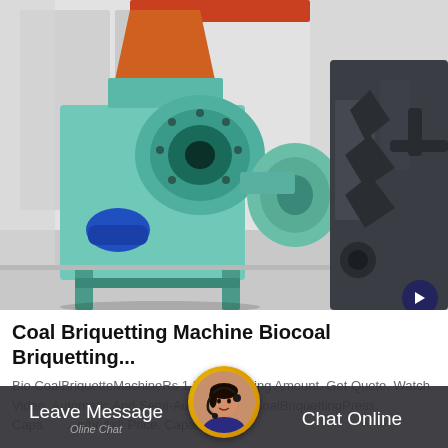[Figure (photo): Photograph of a large industrial coal briquetting machine with teal/green painted metal body, showing roller press components, blue motor, and disc mechanism, inside a factory/warehouse setting. A dark grey machine is partially visible on the right side.]
Coal Briquetting Machine Biocoal Briquetting...
Bio CoalBriquetteMachineRs 1 Lakh/Booking Amount. Get Quote. Watch Video. Automatic And Semi-AutomaticBio CoalBriquettingPress. Capa...g/hr Ask Price. Capacity:
Leave Message | Chat Online | Oline Chat